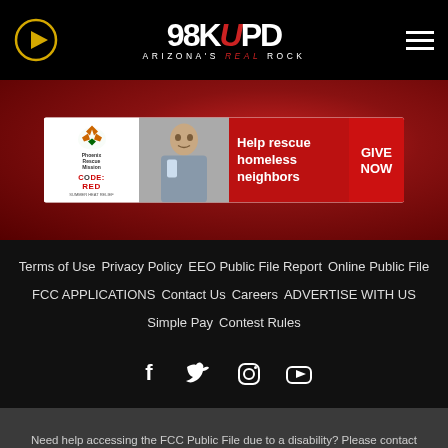[Figure (logo): 98KUPD Arizona's Real Rock radio station logo with play button and hamburger menu on black header bar]
[Figure (infographic): Phoenix Rescue Mission CODE:RED Summer Heat Relief advertisement banner with photo of man and 'Help rescue homeless neighbors GIVE NOW' text on dark red background]
Terms of Use  Privacy Policy  EEO Public File Report  Online Public File  FCC APPLICATIONS  Contact Us  Careers  ADVERTISE WITH US  Simple Pay  Contest Rules
[Figure (illustration): Social media icons: Facebook, Twitter, Instagram, YouTube]
Need help accessing the FCC Public File due to a disability? Please contact Larry McFeelie at publicfilephoenix@hubbardradio.com or (602) 629-8709.
This web site is not intended for users located within the European Economic Area.